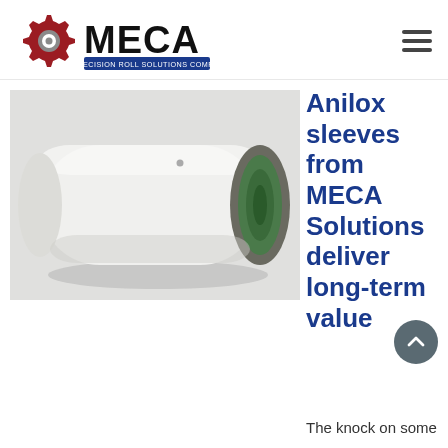MECA – A Precision Roll Solutions Company
[Figure (photo): White cylindrical anilox sleeve/roll lying on its side, showing green interior opening, on a light surface]
Anilox sleeves from MECA Solutions deliver long-term value
The knock on some